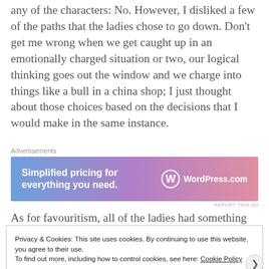any of the characters: No. However, I disliked a few of the paths that the ladies chose to go down. Don't get me wrong when we get caught up in an emotionally charged situation or two, our logical thinking goes out the window and we charge into things like a bull in a china shop; I just thought about those choices based on the decisions that I would make in the same instance.
[Figure (other): WordPress.com advertisement banner with gradient blue-purple-pink background. Text reads 'Simplified pricing for everything you need.' with WordPress.com logo on the right.]
As for favouritism, all of the ladies had something rather
Privacy & Cookies: This site uses cookies. By continuing to use this website, you agree to their use. To find out more, including how to control cookies, see here: Cookie Policy
Close and accept